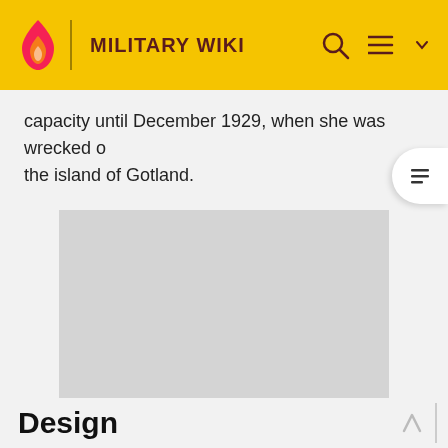MILITARY WIKI
capacity until December 1929, when she was wrecked off the island of Gotland.
[Figure (other): Advertisement placeholder — large grey rectangle with 'ADVERTISEMENT' label below]
Design